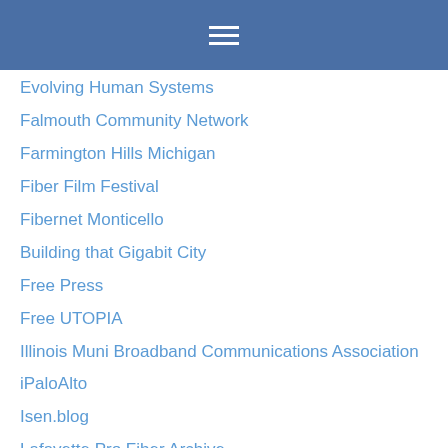☰
Evolving Human Systems
Falmouth Community Network
Farmington Hills Michigan
Fiber Film Festival
Fibernet Monticello
Building that Gigabit City
Free Press
Free UTOPIA
Illinois Muni Broadband Communications Association
iPaloAlto
Isen.blog
Lafayette Pro Fiber Archive
Media Action Grassroots
NC Broadband 4 Everyone
nDanville
Next Century Cities